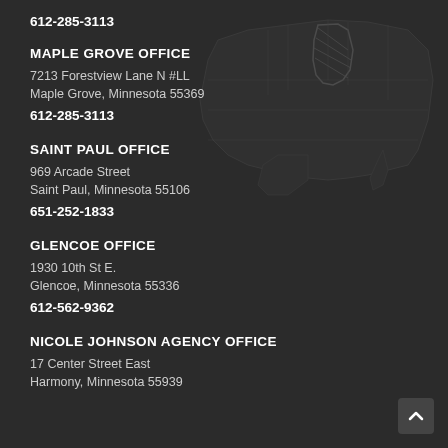612-285-3113
MAPLE GROVE OFFICE
7213 Forestview Lane N #LL
Maple Grove, Minnesota 55369
612-285-3113
SAINT PAUL OFFICE
969 Arcade Street
Saint Paul, Minnesota 55106
651-252-1833
GLENCOE OFFICE
1930 10th St E.
Glencoe, Minnesota 55336
612-562-9362
NICOLE JOHNSON AGENCY OFFICE
17 Center Street East
Harmony, Minnesota 55939